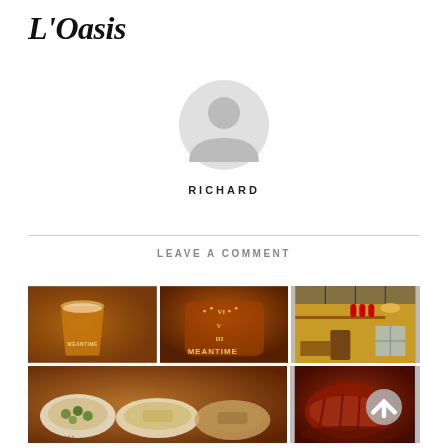L'Oasis
[Figure (illustration): Gray placeholder avatar icon showing a silhouette of a person's head and shoulders]
RICHARD
LEAVE A COMMENT
[Figure (photo): Top row left: A Meantime beer glass filled with amber beer on a wooden table]
[Figure (photo): Top row middle: Close-up of a Meantime branded beer mug/tankard showing the logo with roman numerals VI, V, III]
[Figure (photo): Top row right: Interior of a restaurant/bar with yellow walls, a mezzanine level with people, chandelier and large windows]
[Figure (photo): Bottom row left: Multiple small ceramic dishes with olives, couscous and other tapas/mezze foods]
[Figure (photo): Bottom row right: Close-up of sliced roasted meat in a dark sauce/gravy]